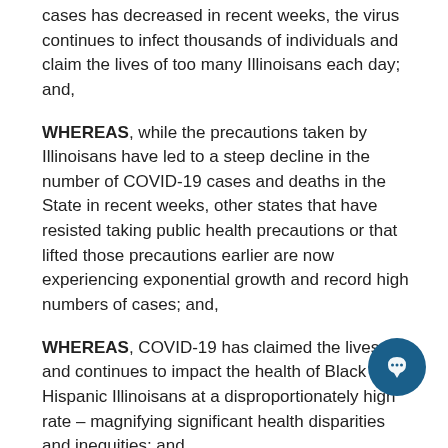cases has decreased in recent weeks, the virus continues to infect thousands of individuals and claim the lives of too many Illinoisans each day; and,
WHEREAS, while the precautions taken by Illinoisans have led to a steep decline in the number of COVID-19 cases and deaths in the State in recent weeks, other states that have resisted taking public health precautions or that lifted those precautions earlier are now experiencing exponential growth and record high numbers of cases; and,
WHEREAS, COVID-19 has claimed the lives of and continues to impact the health of Black and Hispanic Illinoisans at a disproportionately high rate – magnifying significant health disparities and inequities; and,
WHEREAS, while hospitalizations have declined,